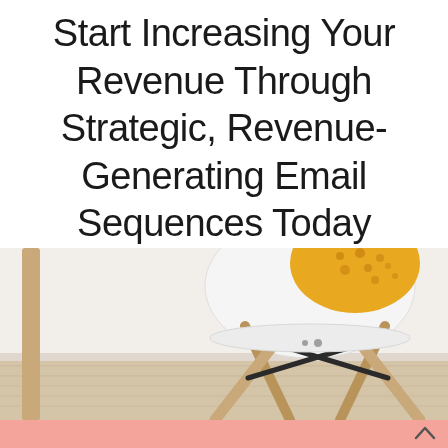Start Increasing Your Revenue Through Strategic, Revenue-Generating Email Sequences Today
[Figure (photo): Photo of a modern white Eames-style chair with wooden legs and a yellow patterned cushion, placed against a white wall on a light wood floor. The image is cropped to show the lower portion of the chair and legs.]